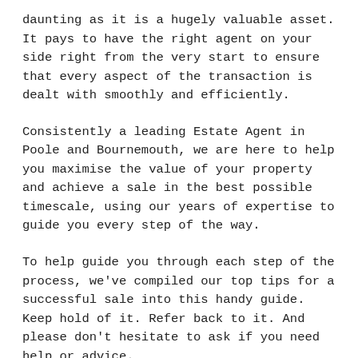daunting as it is a hugely valuable asset. It pays to have the right agent on your side right from the very start to ensure that every aspect of the transaction is dealt with smoothly and efficiently.
Consistently a leading Estate Agent in Poole and Bournemouth, we are here to help you maximise the value of your property and achieve a sale in the best possible timescale, using our years of expertise to guide you every step of the way.
To help guide you through each step of the process, we've compiled our top tips for a successful sale into this handy guide. Keep hold of it. Refer back to it. And please don't hesitate to ask if you need help or advice.
1) Valuation